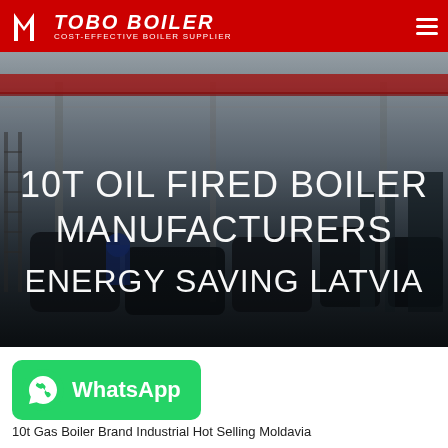TOBO BOILER — COST-EFFECTIVE BOILER SUPPLIER
[Figure (photo): Industrial boiler manufacturing facility interior with overhead red crane beam, large industrial equipment and boilers on the factory floor. Overlaid text reads: 10T OIL FIRED BOILER MANUFACTURERS ENERGY SAVING LATVIA]
10T OIL FIRED BOILER MANUFACTURERS ENERGY SAVING LATVIA
[Figure (other): Green WhatsApp button with WhatsApp phone icon and text 'WhatsApp']
10t Gas Boiler Brand Industrial Hot Selling Moldavia